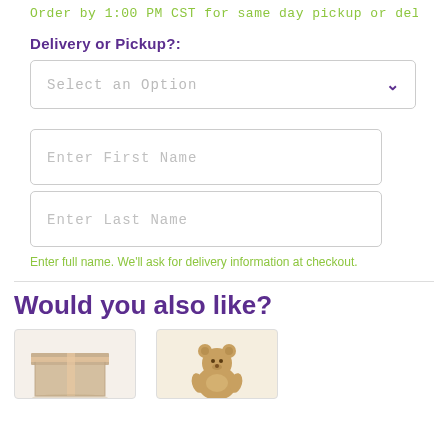Order by 1:00 PM CST for same day pickup or delivery!
Delivery or Pickup?:
Select an Option
Enter First Name
Enter Last Name
Enter full name. We'll ask for delivery information at checkout.
Would you also like?
[Figure (photo): Thumbnail image of a gift box]
[Figure (photo): Thumbnail image of a teddy bear]